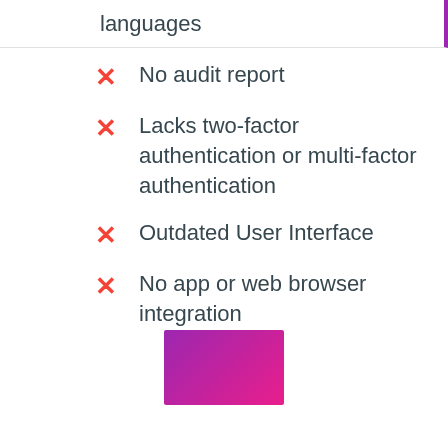languages
No audit report
Lacks two-factor authentication or multi-factor authentication
Outdated User Interface
No app or web browser integration
[Figure (illustration): A purple-to-magenta gradient rectangle]